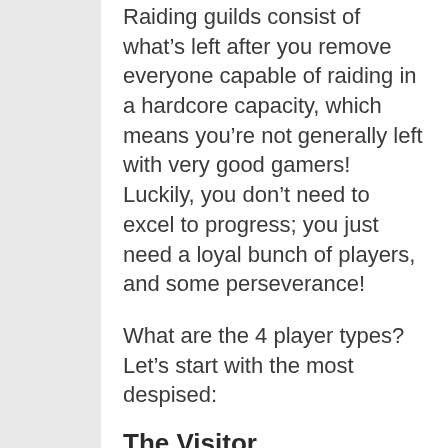Raiding guilds consist of what's left after you remove everyone capable of raiding in a hardcore capacity, which means you're not generally left with very good gamers! Luckily, you don't need to excel to progress; you just need a loyal bunch of players, and some perseverance!
What are the 4 player types? Let's start with the most despised:
The Visitor